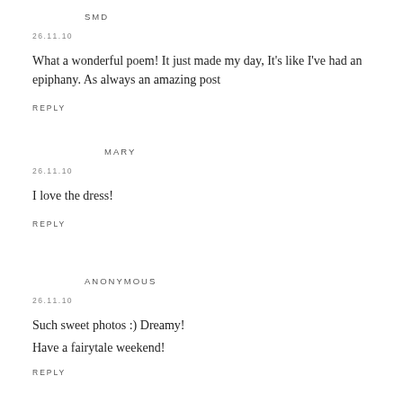SMD
26.11.10
What a wonderful poem! It just made my day, It's like I've had an epiphany. As always an amazing post
REPLY
MARY
26.11.10
I love the dress!
REPLY
ANONYMOUS
26.11.10
Such sweet photos :) Dreamy!
Have a fairytale weekend!
REPLY